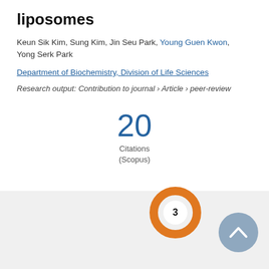liposomes
Keun Sik Kim, Sung Kim, Jin Seu Park, Young Guen Kwon, Yong Serk Park
Department of Biochemistry, Division of Life Sciences
Research output: Contribution to journal › Article › peer-review
20 Citations (Scopus)
[Figure (donut-chart): Orange donut badge showing the number 3]
[Figure (other): Blue-grey circular scroll-to-top button with upward chevron arrow]